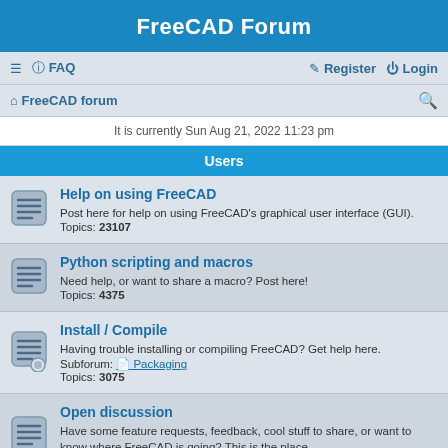FreeCAD Forum
≡  FAQ    Register  Login
FreeCAD forum
It is currently Sun Aug 21, 2022 11:23 pm
Users
Help on using FreeCAD
Post here for help on using FreeCAD's graphical user interface (GUI).
Topics: 23107
Python scripting and macros
Need help, or want to share a macro? Post here!
Topics: 4375
Install / Compile
Having trouble installing or compiling FreeCAD? Get help here.
Subforum: Packaging
Topics: 3075
Open discussion
Have some feature requests, feedback, cool stuff to share, or want to know where FreeCAD is going? This is the place.
Topics: 5549
Announcements & Features
Info about new community or project announcements, implemented features, classes, modules or APIs. Might get technical!
PLEASE DO NOT POST HELP REQUESTS OR OTHER DISCUSSIONS